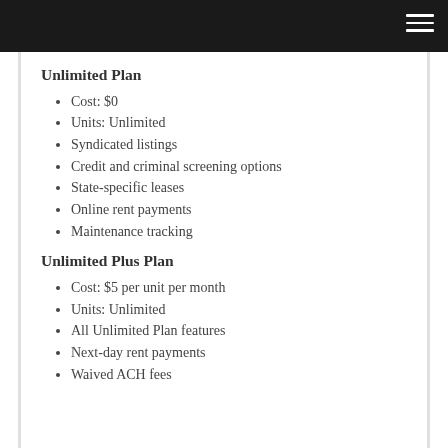Unlimited Plan
Cost: $0
Units: Unlimited
Syndicated listings
Credit and criminal screening options
State-specific leases
Online rent payments
Maintenance tracking
Unlimited Plus Plan
Cost: $5 per unit per month
Units: Unlimited
All Unlimited Plan features
Next-day rent payments
Waived ACH fees